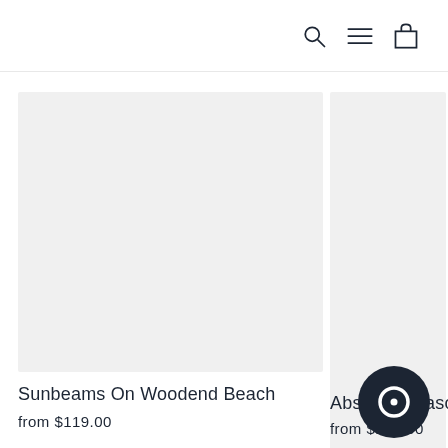Navigation icons: search, menu, cart
[Figure (photo): Product image placeholder (light gray rectangle) for Sunbeams On Woodend Beach]
Sunbeams On Woodend Beach
from $119.00
[Figure (photo): Product image placeholder (light gray rectangle) for Abstract Seascape]
Abstract Seascap
from $119.00
[Figure (other): Dark circular chat/support button in bottom right corner]